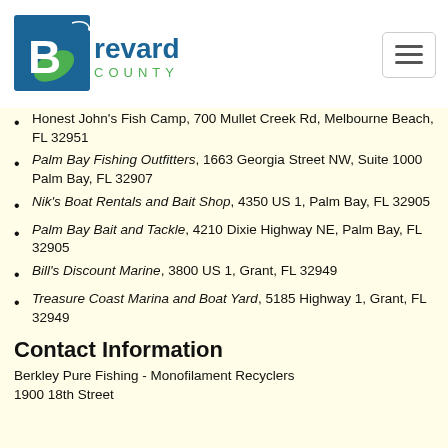Brevard County
Honest John's Fish Camp, 700 Mullet Creek Rd, Melbourne Beach, FL 32951
Palm Bay Fishing Outfitters, 1663 Georgia Street NW, Suite 1000 Palm Bay, FL 32907
Nik's Boat Rentals and Bait Shop, 4350 US 1, Palm Bay, FL 32905
Palm Bay Bait and Tackle, 4210 Dixie Highway NE, Palm Bay, FL 32905
Bill's Discount Marine, 3800 US 1, Grant, FL 32949
Treasure Coast Marina and Boat Yard, 5185 Highway 1, Grant, FL 32949
Contact Information
Berkley Pure Fishing - Monofilament Recyclers
1900 18th Street